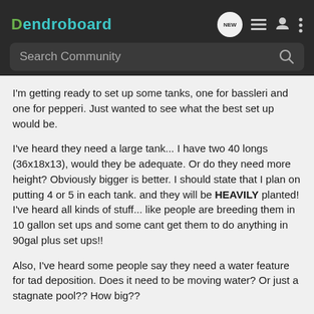Dendroboard
I'm getting ready to set up some tanks, one for bassleri and one for pepperi. Just wanted to see what the best set up would be.
I've heard they need a large tank... I have two 40 longs (36x18x13), would they be adequate. Or do they need more height? Obviously bigger is better. I should state that I plan on putting 4 or 5 in each tank. and they will be HEAVILY planted! I've heard all kinds of stuff... like people are breeding them in 10 gallon set ups and some cant get them to do anything in 90gal plus set ups!!
Also, I've heard some people say they need a water feature for tad deposition. Does it need to be moving water? Or just a stagnate pool?? How big??
Please add any details, links, or info...